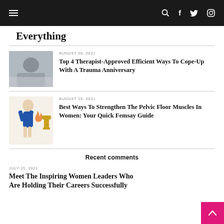Navigation bar with hamburger menu, search, Facebook, Twitter, Instagram icons
Everything
AUGUST 20, 2021
Top 4 Therapist-Approved Efficient Ways To Cope-Up With A Trauma Anniversary
[Figure (photo): Woman resting on pillow/couch thumbnail]
AUGUST 18, 2021
Best Ways To Strengthen The Pelvic Floor Muscles In Women: Your Quick Femsay Guide
[Figure (illustration): Illustration of woman in blue dress with pelvic pain indicators]
Recent comments
JULY 15, 2021
Meet The Inspiring Women Leaders Who Are Holding Their Careers Successfully